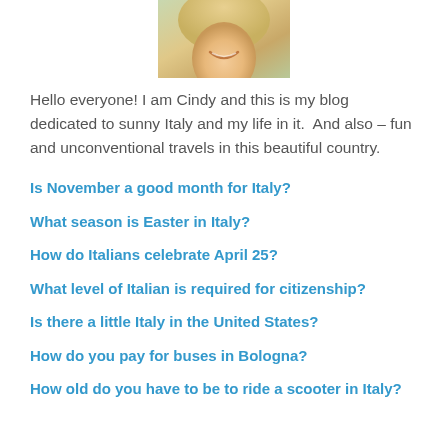[Figure (photo): Partial photo of a smiling woman, cropped to show chin and smile area against outdoor background]
Hello everyone! I am Cindy and this is my blog dedicated to sunny Italy and my life in it.  And also – fun and unconventional travels in this beautiful country.
Is November a good month for Italy?
What season is Easter in Italy?
How do Italians celebrate April 25?
What level of Italian is required for citizenship?
Is there a little Italy in the United States?
How do you pay for buses in Bologna?
How old do you have to be to ride a scooter in Italy?